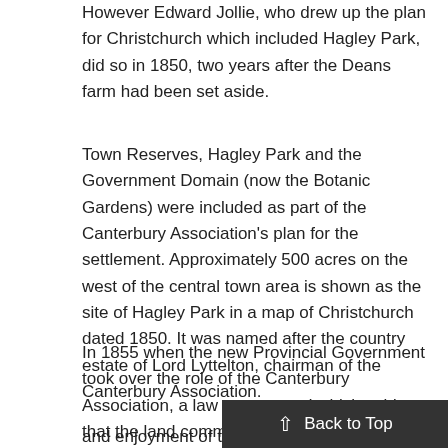However Edward Jollie, who drew up the plan for Christchurch which included Hagley Park, did so in 1850, two years after the Deans farm had been set aside.
Town Reserves, Hagley Park and the Government Domain (now the Botanic Gardens) were included as part of the Canterbury Association's plan for the settlement. Approximately 500 acres on the west of the central town area is shown as the site of Hagley Park in a map of Christchurch dated 1850. It was named after the country estate of Lord Lyttelton, chairman of the Canterbury Association.
In 1855 when the new Provincial Government took over the role of the Canterbury Association, a law was passed which said that the land commonly known as Hagley Park, shall be reserved for ever as a public park, and shall be open for the r... and enjoyment of the public 1